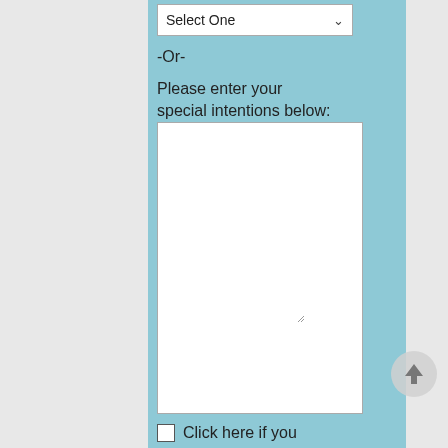[Figure (screenshot): A dropdown select box with 'Select One' option and a downward chevron arrow, on a light blue background]
-Or-
Please enter your special intentions below:
[Figure (screenshot): A large empty white textarea input box with a resize handle in the bottom right corner]
Click here if you
[Figure (other): A circular scroll-to-top button with an upward arrow, light gray border circle]